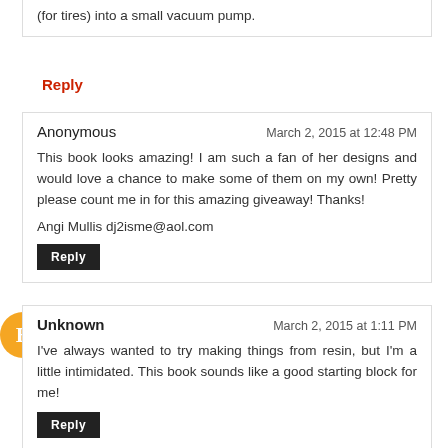(for tires) into a small vacuum pump.
Reply
Anonymous
March 2, 2015 at 12:48 PM
This book looks amazing! I am such a fan of her designs and would love a chance to make some of them on my own! Pretty please count me in for this amazing giveaway! Thanks!
Angi Mullis dj2isme@aol.com
Reply
Unknown
March 2, 2015 at 1:11 PM
I've always wanted to try making things from resin, but I'm a little intimidated. This book sounds like a good starting block for me!
Reply